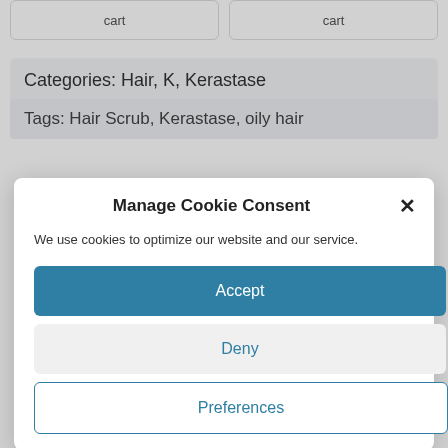cart
cart
Categories: Hair, K, Kerastase
Tags: Hair Scrub, Kerastase, oily hair
Manage Cookie Consent
We use cookies to optimize our website and our service.
Accept
Deny
Preferences